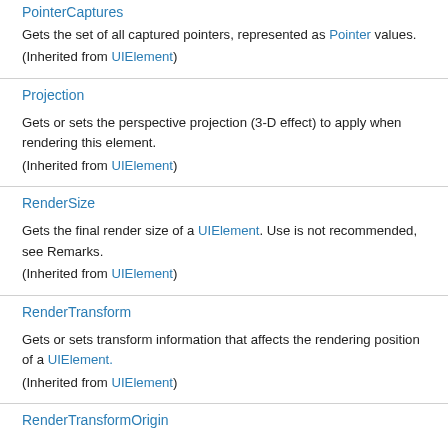PointerCaptures
Gets the set of all captured pointers, represented as Pointer values.
(Inherited from UIElement)
Projection
Gets or sets the perspective projection (3-D effect) to apply when rendering this element.
(Inherited from UIElement)
RenderSize
Gets the final render size of a UIElement. Use is not recommended, see Remarks.
(Inherited from UIElement)
RenderTransform
Gets or sets transform information that affects the rendering position of a UIElement.
(Inherited from UIElement)
RenderTransformOrigin